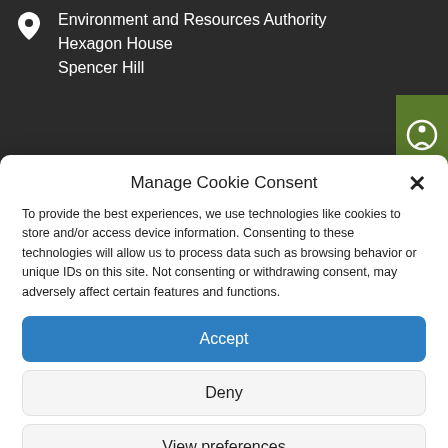Environment and Resources Authority
Hexagon House
Spencer Hill
Mosta MBS 1141
Manage Cookie Consent
To provide the best experiences, we use technologies like cookies to store and/or access device information. Consenting to these technologies will allow us to process data such as browsing behavior or unique IDs on this site. Not consenting or withdrawing consent, may adversely affect certain features and functions.
Accept
Deny
View preferences
Cookie Policy   Privacy Policy